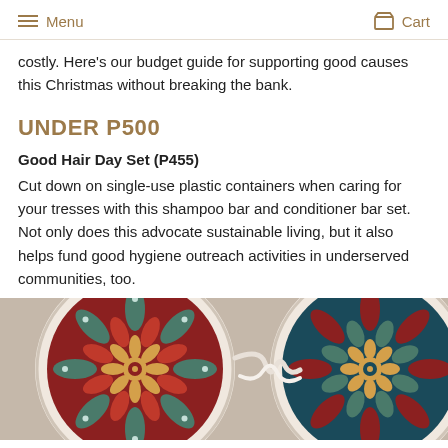Menu  Cart
costly. Here's our budget guide for supporting good causes this Christmas without breaking the bank.
UNDER P500
Good Hair Day Set (P455)
Cut down on single-use plastic containers when caring for your tresses with this shampoo bar and conditioner bar set. Not only does this advocate sustainable living, but it also helps fund good hygiene outreach activities in underserved communities, too.
[Figure (photo): Two circular fabric/textile items with elaborate mandala patterns in dark red and teal colors, photographed from above on a neutral background.]